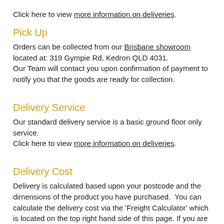Click here to view more information on deliveries.
Pick Up
Orders can be collected from our Brisbane showroom located at: 319 Gympie Rd, Kedron QLD 4031.
Our Team will contact you upon confirmation of payment to notify you that the goods are ready for collection.
Delivery Service
Our standard delivery service is a basic ground floor only service.
Click here to view more information on deliveries.
Delivery Cost
Delivery is calculated based upon your postcode and the dimensions of the product you have purchased.  You can calculate the delivery cost via the 'Freight Calculator' which is located on the top right hand side of this page. If you are choosing multiple different items; place them into your